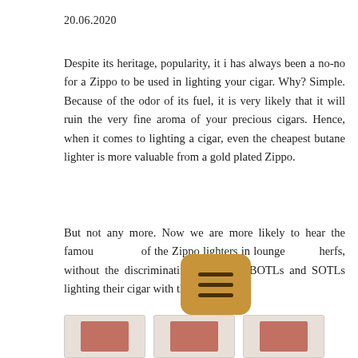20.06.2020
Despite its heritage, popularity, it i has always been a no-no for a Zippo to be used in lighting your cigar. Why? Simple. Because of the odor of its fuel, it is very likely that it will ruin the very fine aroma of your precious cigars. Hence, when it comes to lighting a cigar, even the cheapest butane lighter is more valuable from a gold plated Zippo.
But not any more. Now we are more likely to hear the famous [icon] of the Zippo lighters in lounges and herfs, without the discriminating those BOTLs and SOTLs lighting their cigar with them.
[Figure (other): Three thumbnail images at the bottom of the page, each showing partial photographs of cigars or related subjects.]